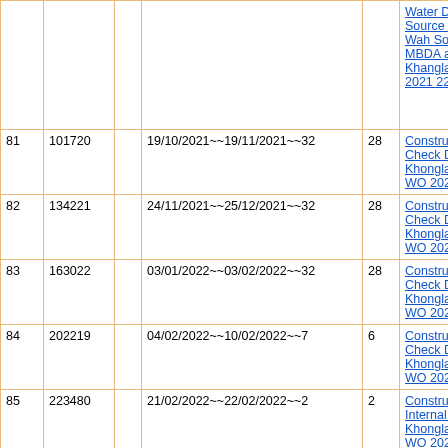|  |  |  |  |  |  |
| --- | --- | --- | --- | --- | --- |
|  |  |  |  |  | Water Drinking Source In Kor Wah Sohrai with MBDA at Khanglah Vec WO 2021 22 |
| 81 | 101720 |  | 19/10/2021~~19/11/2021~~32 | 28 | Construction of Check Dam at Khonglah VEC WO 2021 22 |
| 82 | 134221 |  | 24/11/2021~~25/12/2021~~32 | 28 | Construction of Check Dam at Khonglah VEC WO 2021 22 |
| 83 | 163022 |  | 03/01/2022~~03/02/2022~~32 | 28 | Construction of Check Dam at Khonglah VEC WO 2021 22 |
| 84 | 202219 |  | 04/02/2022~~10/02/2022~~7 | 6 | Construction of Check Dam at Khonglah VEC WO 2021 22 |
| 85 | 223480 |  | 21/02/2022~~22/02/2022~~2 | 2 | Construction of Internal Road at Khonglah VEC WO 2021 22 |